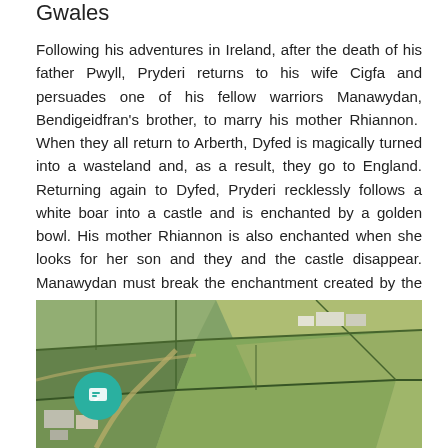Gwales
Following his adventures in Ireland, after the death of his father Pwyll, Pryderi returns to his wife Cigfa and persuades one of his fellow warriors Manawydan, Bendigeidfran's brother, to marry his mother Rhiannon.  When they all return to Arberth, Dyfed is magically turned into a wasteland and, as a result, they go to England. Returning again to Dyfed, Pryderi recklessly follows a white boar into a castle and is enchanted by a golden bowl. His mother Rhiannon is also enchanted when she looks for her son and they and the castle disappear. Manawydan must break the enchantment created by the wizard Llwyd ap Cil Coed. According to the legend, Llwyd's home was at Porth Cerddin, which it has been suggested could be Porth Mawr near St David's, Pembrokeshire.
[Figure (photo): Aerial photograph of rural farmland with green and brown fields divided by hedgerows and paths, with farm buildings visible.]